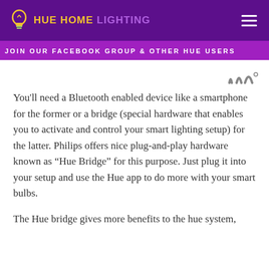HUE HOME LIGHTING
JOIN OUR FACEBOOK GROUP & OTHER HUE USERS
You'll need a Bluetooth enabled device like a smartphone for the former or a bridge (special hardware that enables you to activate and control your smart lighting setup) for the latter. Philips offers nice plug-and-play hardware known as “Hue Bridge” for this purpose. Just plug it into your setup and use the Hue app to do more with your smart bulbs.
The Hue bridge gives more benefits to the hue system,